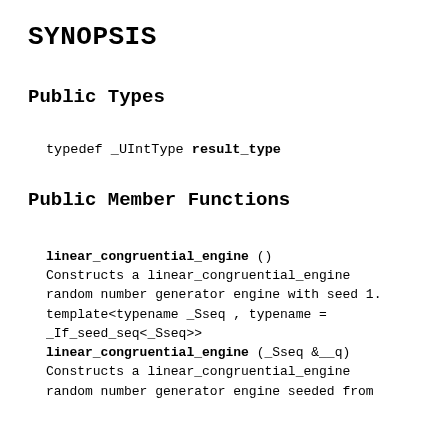SYNOPSIS
Public Types
typedef _UIntType result_type
Public Member Functions
linear_congruential_engine ()
Constructs a linear_congruential_engine random number generator engine with seed 1.
template<typename _Sseq , typename = _If_seed_seq<_Sseq>>
linear_congruential_engine (_Sseq &__q)
Constructs a linear_congruential_engine random number generator engine seeded from